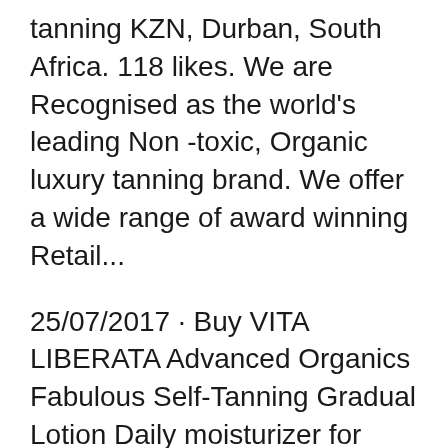tanning KZN, Durban, South Africa. 118 likes. We are Recognised as the world's leading Non -toxic, Organic luxury tanning brand. We offer a wide range of award winning Retail...
25/07/2017 · Buy VITA LIBERATA Advanced Organics Fabulous Self-Tanning Gradual Lotion Daily moisturizer for your face & body delivering a gradual buildable tan With Marula Oil Suits all skin tones 6.76 Fl Oz on Amazon.com FREE SHIPPING on qualified orders 15/07/2016 · At the end of my Vita Liberata Fabulous Tinted Self Tanning Lotion review I'll give you my overall rating of the product based on how it compares to other self tanners.